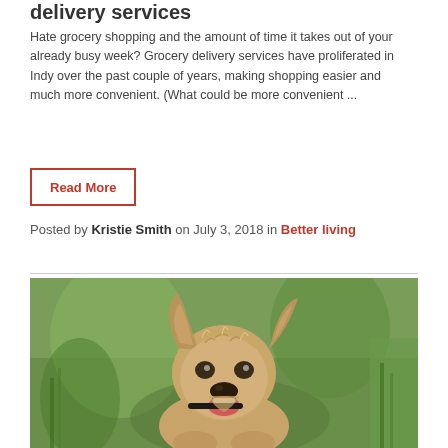delivery services
Hate grocery shopping and the amount of time it takes out of your already busy week? Grocery delivery services have proliferated in Indy over the past couple of years, making shopping easier and much more convenient. (What could be more convenient ...
Read More
Posted by Kristie Smith on July 3, 2018 in Better living
[Figure (photo): A fluffy tan/golden terrier puppy running toward the camera with mouth open and ears up, against a green bokeh background, holding a dark object in its mouth.]